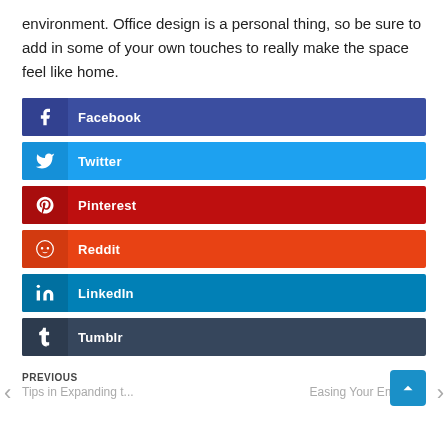environment. Office design is a personal thing, so be sure to add in some of your own touches to really make the space feel like home.
Facebook
Twitter
Pinterest
Reddit
LinkedIn
Tumblr
PREVIOUS Tips in Expanding t...  NEXT Easing Your Employ...